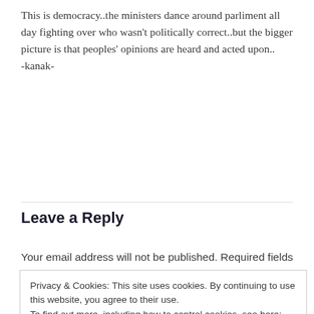This is democracy..the ministers dance around parliment all day fighting over who wasn't politically correct..but the bigger picture is that peoples' opinions are heard and acted upon..
-kanak-
Leave a Reply
Your email address will not be published. Required fields are
Privacy & Cookies: This site uses cookies. By continuing to use this website, you agree to their use.
To find out more, including how to control cookies, see here: Cookie Policy